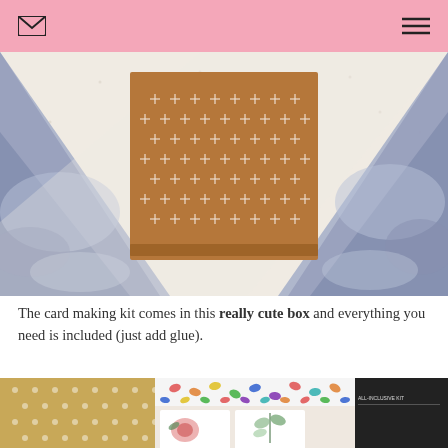[Figure (photo): A brown patterned box with white cross/star pattern on top, surrounded by blue watercolor-like decorative paper, photographed from above on a white background.]
The card making kit comes in this really cute box and everything you need is included (just add glue).
[Figure (photo): Craft kit contents laid out including patterned papers (brown polka dot, colorful confetti pattern), greeting cards with floral and botanical illustrations, and a black all-inclusive kit box.]